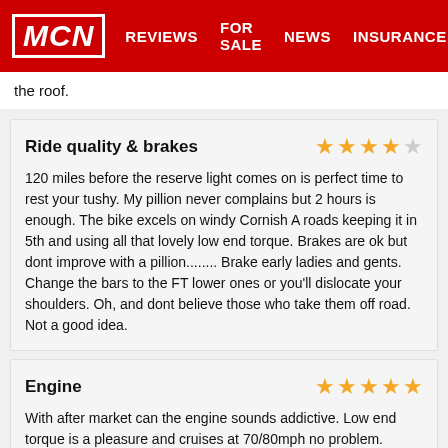MCN | REVIEWS | FOR SALE | NEWS | INSURANCE
the roof.
Ride quality & brakes
120 miles before the reserve light comes on is perfect time to rest your tushy. My pillion never complains but 2 hours is enough. The bike excels on windy Cornish A roads keeping it in 5th and using all that lovely low end torque. Brakes are ok but dont improve with a pillion........ Brake early ladies and gents. Change the bars to the FT lower ones or you'll dislocate your shoulders. Oh, and dont believe those who take them off road. Not a good idea.
Engine
With after market can the engine sounds addictive. Low end torque is a pleasure and cruises at 70/80mph no problem. Throttle can catch you out in traffic or over bumps. It's not a sports bike so dont look for much power